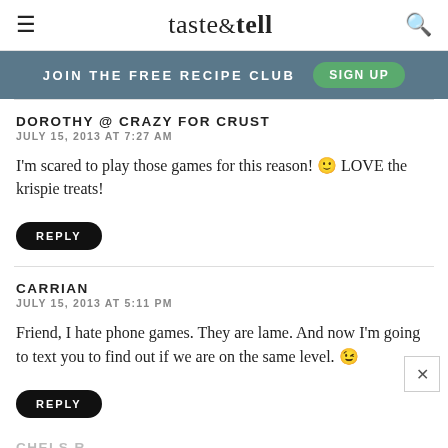taste & tell
JOIN THE FREE RECIPE CLUB   SIGN UP
DOROTHY @ CRAZY FOR CRUST
JULY 15, 2013 AT 7:27 AM
I'm scared to play those games for this reason! 🙂 LOVE the krispie treats!
REPLY
CARRIAN
JULY 15, 2013 AT 5:11 PM
Friend, I hate phone games. They are lame. And now I'm going to text you to find out if we are on the same level. 😉
REPLY
CHELS R.